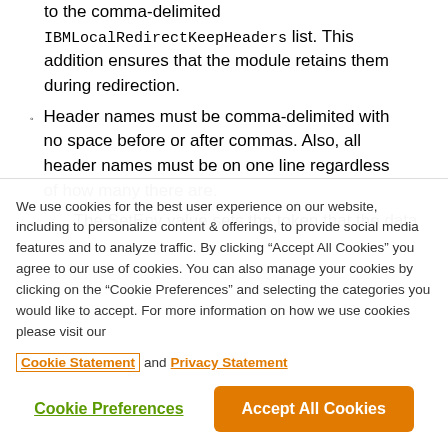to the comma-delimited IBMLocalRedirectKeepHeaders list. This addition ensures that the module retains them during redirection.
Header names must be comma-delimited with no space before or after commas. Also, all header names must be on one line regardless of how many there are.
The SetEnv value sets the token that the data...
We use cookies for the best user experience on our website, including to personalize content & offerings, to provide social media features and to analyze traffic. By clicking “Accept All Cookies” you agree to our use of cookies. You can also manage your cookies by clicking on the “Cookie Preferences” and selecting the categories you would like to accept. For more information on how we use cookies please visit our Cookie Statement and Privacy Statement
Cookie Preferences | Accept All Cookies